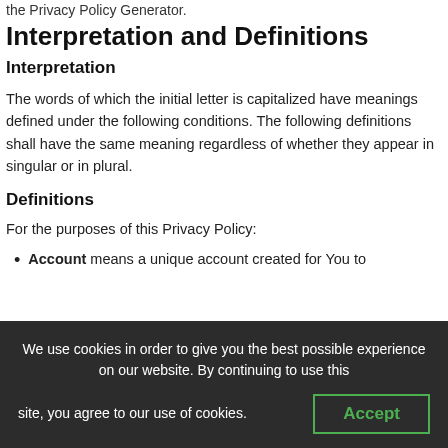the Privacy Policy Generator.
Interpretation and Definitions
Interpretation
The words of which the initial letter is capitalized have meanings defined under the following conditions. The following definitions shall have the same meaning regardless of whether they appear in singular or in plural.
Definitions
For the purposes of this Privacy Policy:
Account means a unique account created for You to
We use cookies in order to give you the best possible experience on our website. By continuing to use this site, you agree to our use of cookies.